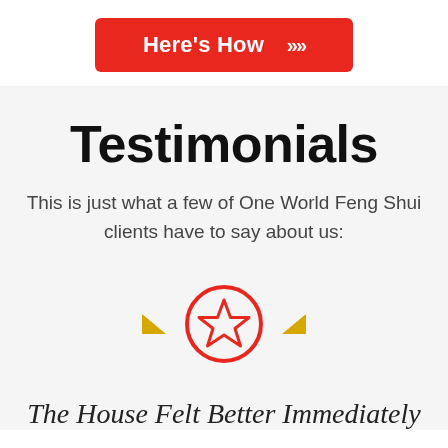[Figure (other): Red button with white text 'Here's How' and double chevron arrows]
Testimonials
This is just what a few of One World Feng Shui clients have to say about us:
[Figure (illustration): Decorative icon row with two yellow triangles pointing inward and a red-outlined circle with a star in the center]
The House Felt Better Immediately